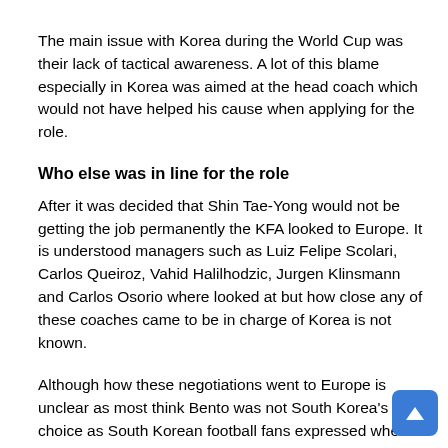The main issue with Korea during the World Cup was their lack of tactical awareness. A lot of this blame especially in Korea was aimed at the head coach which would not have helped his cause when applying for the role.
Who else was in line for the role
After it was decided that Shin Tae-Yong would not be getting the job permanently the KFA looked to Europe. It is understood managers such as Luiz Felipe Scolari, Carlos Queiroz, Vahid Halilhodzic, Jurgen Klinsmann and Carlos Osorio where looked at but how close any of these coaches came to be in charge of Korea is not known.
Although how these negotiations went to Europe is unclear as most think Bento was not South Korea's first choice as South Korean football fans expressed where excited for a big name. If you are to believe the KFA though they chose Bento for his passion and style of football.
More about Bento
Paulo Jorge Gomes Bento to give him his full name is a Portuguese manager that started his management career with Sporting Lisbon in 2005. Since then he's gone to manage four other sides with South Korea being his sixth job in management